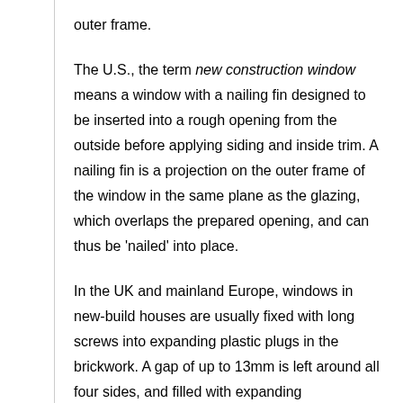outer frame.
The U.S., the term new construction window means a window with a nailing fin designed to be inserted into a rough opening from the outside before applying siding and inside trim. A nailing fin is a projection on the outer frame of the window in the same plane as the glazing, which overlaps the prepared opening, and can thus be 'nailed' into place.
In the UK and mainland Europe, windows in new-build houses are usually fixed with long screws into expanding plastic plugs in the brickwork. A gap of up to 13mm is left around all four sides, and filled with expanding polyurethane foam. This makes the window fixing weatherproof but allows for